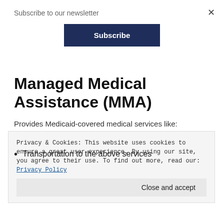Subscribe to our newsletter
Subscribe
Managed Medical Assistance (MMA)
Provides Medicaid-covered medical services like:
Doctor visits
Privacy & Cookies: This website uses cookies to ensure a great user experience. By using our site, you agree to their use. To find out more, read our: Privacy Policy
Close and accept
Transportation to the above services